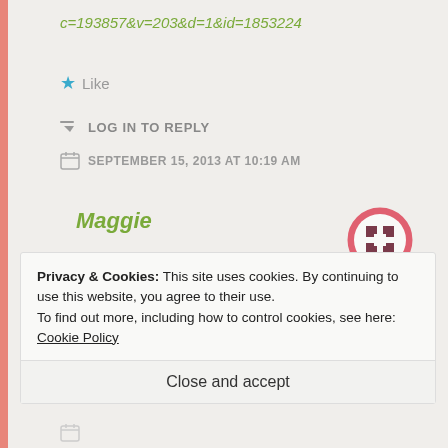c=193857&v=203&d=1&id=1853224
★ Like
↪ LOG IN TO REPLY
SEPTEMBER 15, 2013 AT 10:19 AM
Maggie
Perfectly understandable.
http://en.wikipedia.org/wiki/Stockholm_syn
Privacy & Cookies: This site uses cookies. By continuing to use this website, you agree to their use.
To find out more, including how to control cookies, see here: Cookie Policy
Close and accept